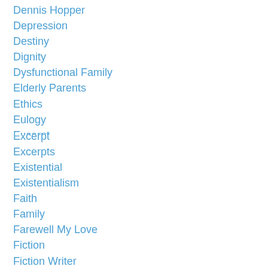Dennis Hopper
Depression
Destiny
Dignity
Dysfunctional Family
Elderly Parents
Ethics
Eulogy
Excerpt
Excerpts
Existential
Existentialism
Faith
Family
Farewell My Love
Fiction
Fiction Writer
Frank Rich
Gay
Gay Pride Montreal